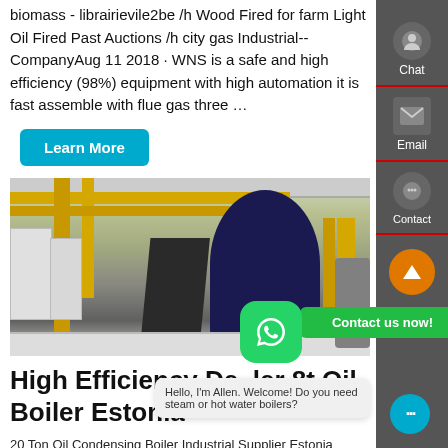biomass - librairievile2be /h Wood Fired for farm Light Oil Fired Past Auctions /h city gas Industrial--CompanyAug 11 2018 · WNS is a safe and high efficiency (98%) equipment with high automation it is fast assemble with flue gas three …
[Figure (other): Blue Learn More button]
[Figure (photo): Industrial boiler room with yellow pipes and large blue cylindrical boiler unit, stairs visible, bright factory interior]
High Efficiency Dealer 8t Oil Boiler Estonia
20 Ton Oil Condensing Boiler Industrial Supplier Estonia seller
20 ton condensing hot water boiler for 2021N is one of the
[Figure (other): WhatsApp icon green rounded square]
Contact us now!
Hello, I'm Allen. Welcome! Do you need steam or hot water boilers?
[Figure (other): Right sidebar with Chat, Email, Contact, and scroll-to-top icons on dark grey background]